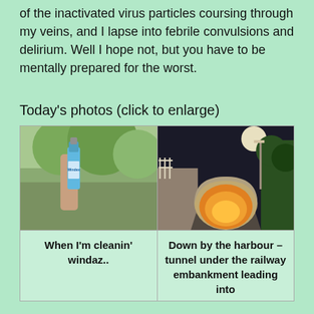of the inactivated virus particles coursing through my veins, and I lapse into febrile convulsions and delirium. Well I hope not, but you have to be mentally prepared for the worst.
Today's photos (click to enlarge)
[Figure (photo): A hand holding a blue bottle of window cleaner (Windex-style) against a window with green trees visible outside]
[Figure (photo): A night-time photograph of a road leading into a tunnel under a railway embankment, with orange lighting inside the tunnel and dark sky above]
When I'm cleanin' windaz..
Down by the harbour – tunnel under the railway embankment leading into